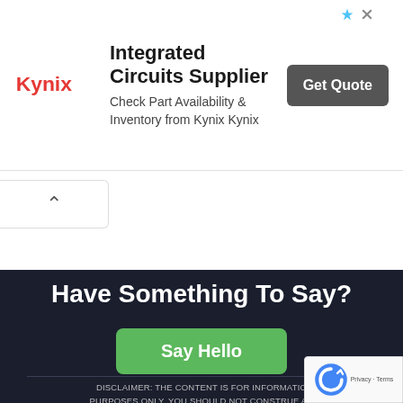[Figure (screenshot): Kynix Integrated Circuits Supplier advertisement banner with logo, text, and Get Quote button]
[Figure (other): Scroll-up chevron button]
Have Something To Say?
Say Hello (button)
DISCLAIMER: THE CONTENT IS FOR INFORMATIONAL PURPOSES ONLY, YOU SHOULD NOT CONSTRUE ANY INFORMATION OR OTHER MATERIAL AS LEGAL, T... INVESTMENT, FINANCIAL, OR OTHER ADVICE